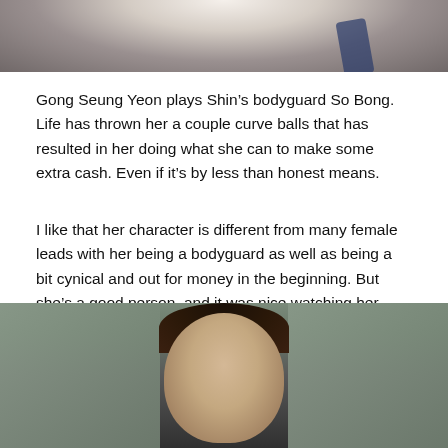[Figure (photo): Top portion of a person wearing a white top with a dark strap visible, cropped at shoulder level]
Gong Seung Yeon plays Shin’s bodyguard So Bong. Life has thrown her a couple curve balls that has resulted in her doing what she can to make some extra cash. Even if it’s by less than honest means.
I like that her character is different from many female leads with her being a bodyguard as well as being a bit cynical and out for money in the beginning. But she’s a good person, and it was nice watching her slowly open up her heart and eventually become Shin III’s biggest advocate.
[Figure (photo): Portrait of a young man with dark hair, photographed outdoors with blurred background]